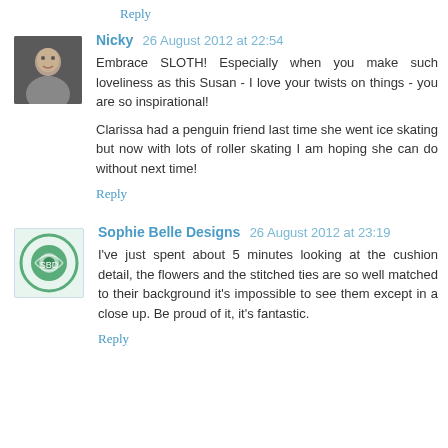Reply
Nicky 26 August 2012 at 22:54
Embrace SLOTH! Especially when you make such loveliness as this Susan - I love your twists on things - you are so inspirational!

Clarissa had a penguin friend last time she went ice skating but now with lots of roller skating I am hoping she can do without next time!
Reply
Sophie Belle Designs 26 August 2012 at 23:19
I've just spent about 5 minutes looking at the cushion detail, the flowers and the stitched ties are so well matched to their background it's impossible to see them except in a close up. Be proud of it, it's fantastic.
Reply